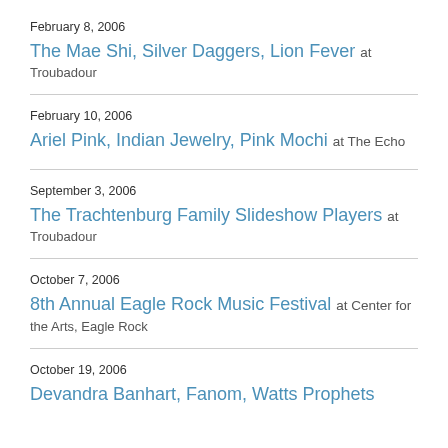February 8, 2006
The Mae Shi, Silver Daggers, Lion Fever at Troubadour
February 10, 2006
Ariel Pink, Indian Jewelry, Pink Mochi at The Echo
September 3, 2006
The Trachtenburg Family Slideshow Players at Troubadour
October 7, 2006
8th Annual Eagle Rock Music Festival at Center for the Arts, Eagle Rock
October 19, 2006
Devandra Banhart, Fanom, Watts Prophets